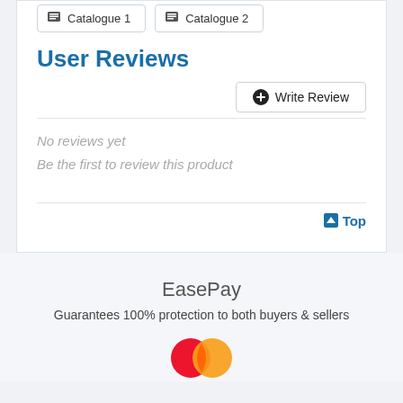Catalogue 1
Catalogue 2
User Reviews
Write Review
No reviews yet
Be the first to review this product
Top
EasePay
Guarantees 100% protection to both buyers & sellers
[Figure (logo): Payment card logos (Mastercard-style overlapping circles in red and orange)]